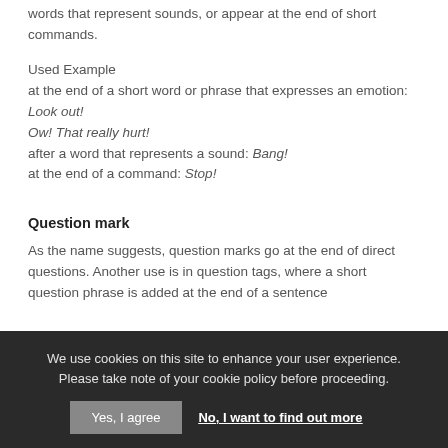words that represent sounds, or appear at the end of short commands.
Used Example
at the end of a short word or phrase that expresses an emotion: Look out!
Ow! That really hurt!
after a word that represents a sound: Bang!
at the end of a command: Stop!
Question mark
As the name suggests, question marks go at the end of direct questions. Another use is in question tags, where a short question phrase is added at the end of a sentence
We use cookies on this site to enhance your user experience. Please take note of your cookie policy before proceeding.
Yes, I agree    No, I want to find out more